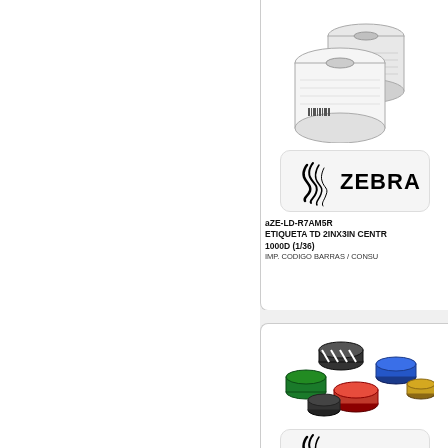[Figure (photo): Photo of two Zebra label rolls (white thermal direct labels on rolls) shown at an angle]
[Figure (logo): Zebra Technologies logo — zebra stripe icon followed by ZEBRA wordmark in bold black on light rounded-rectangle background]
aZE-LD-R7AM5R
ETIQUETA TD 2INX3IN CENTR... 1000D (1/36)
IMP. CODIGO BARRAS / CONSU...
[Figure (photo): Photo of multiple thermal transfer ribbon rolls in various colors (red, green, blue, black, white striped) grouped together]
[Figure (logo): Zebra Technologies logo partial — zebra stripe icon visible, partially cut off at bottom of page]